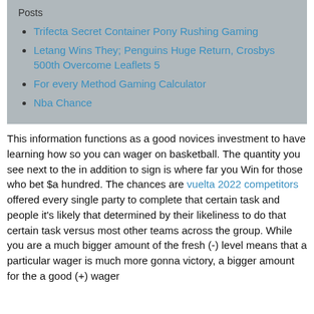Posts
Trifecta Secret Container Pony Rushing Gaming
Letang Wins They; Penguins Huge Return, Crosbys 500th Overcome Leaflets 5
For every Method Gaming Calculator
Nba Chance
This information functions as a good novices investment to have learning how so you can wager on basketball. The quantity you see next to the in addition to sign is where far you Win for those who bet $a hundred. The chances are vuelta 2022 competitors offered every single party to complete that certain task and people it's likely that determined by their likeliness to do that certain task versus most other teams across the group. While you are a much bigger amount of the fresh (-) level means that a particular wager is much more gonna victory, a bigger amount for the a good (+) wager